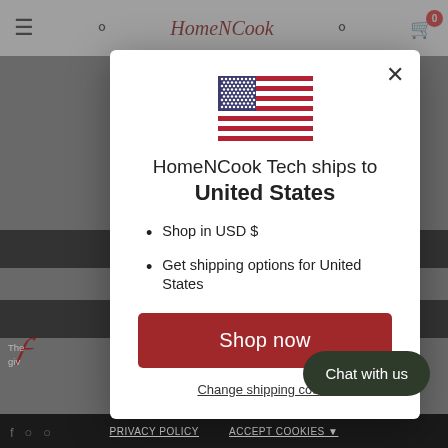HomeNCook Tech navigation bar
[Figure (screenshot): Background website page with navigation bar, black banners, and site content partially visible behind modal overlay]
HomeNCook Tech ships to United States
Shop in USD $
Get shipping options for United States
Shop now
Change shipping country
Chat with us